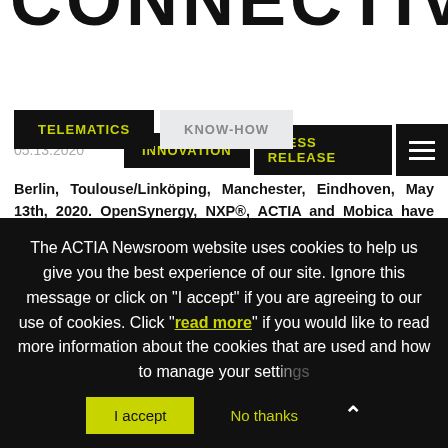CONNECTIVITY
05.13.2020 | INNOVATION | PRESS RELEASE
TELEMATICS
KNOW-HOW
Berlin, Toulouse/Linköping, Manchester, Eindhoven, May 13th, 2020. OpenSynergy, NXP®, ACTIA and Mobica have completed a joint reference platform, demonstrating a hypervisor-based Telematics Control Unit (TCU). This demonstrates the consolidation of multiple telematics
The ACTIA Newsroom website uses cookies to help us give you the best experience of our site. Ignore this message or click on "I accept" if you are agreeing to our use of cookies. Click "read more" if you would like to read more information about the cookies that are used and how to manage your settings.